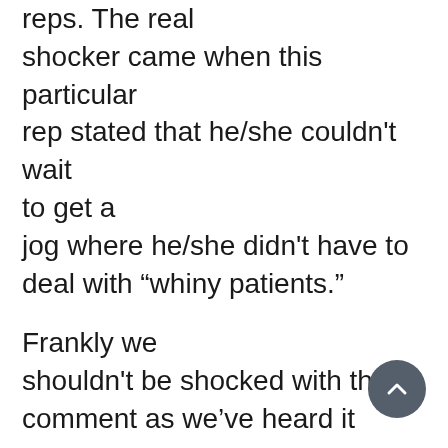reps. The real shocker came when this particular rep stated that he/she couldn't wait to get a jog where he/she didn't have to deal with “whiny patients.”

Frankly we shouldn't be shocked with this comment as we've heard it some many times before. The real shock is how both management and sales have lost their way when it comes to insulin pump sales. The fact is selling an insulin pump involves more than just selling systems, that's only the beginning. The real sale begins